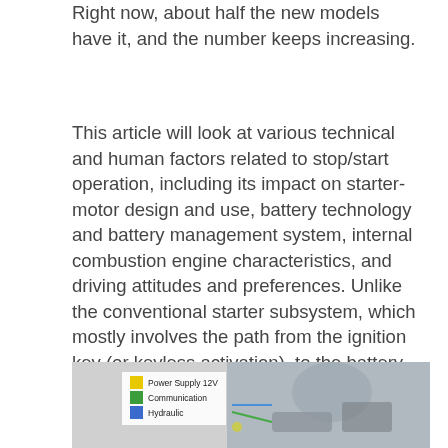Right now, about half the new models have it, and the number keeps increasing.
This article will look at various technical and human factors related to stop/start operation, including its impact on starter-motor design and use, battery technology and battery management system, internal combustion engine characteristics, and driving attitudes and preferences. Unlike the conventional starter subsystem, which mostly involves the path from the ignition key (or keyless activation), to the battery and the starter motor, stop/start involves many more functions and subsystems of the vehicle (Figure 1).
[Figure (illustration): A figure showing a vehicle system diagram for stop/start technology with a legend indicating Power Supply 12V (yellow), Communication (green), and Hydraulic (blue), alongside a photo of an engine bay.]